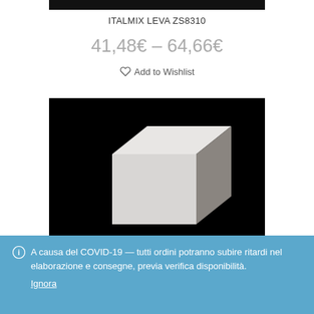ITALMIX LEVA ZS8310
41,48€ – 64,66€
♡ Add to Wishlist
[Figure (photo): Product photo of a gray/white cube-shaped object on black background]
A causa del COVID-19 — tutti ordini potranno subire ritardi nel elaborazione e consegne, previa verifica disponibilità.
Ignora